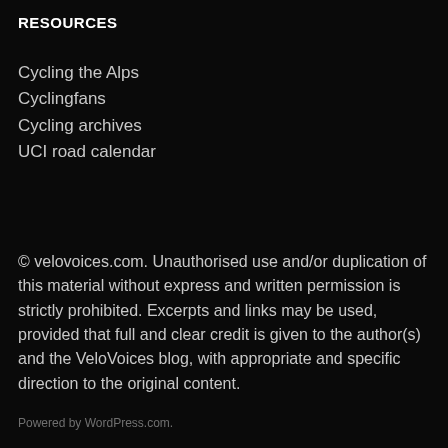RESOURCES
Cycling the Alps
Cyclingfans
Cycling archives
UCI road calendar
© velovoices.com. Unauthorised use and/or duplication of this material without express and written permission is strictly prohibited. Excerpts and links may be used, provided that full and clear credit is given to the author(s) and the VeloVoices blog, with appropriate and specific direction to the original content.
Powered by WordPress.com.